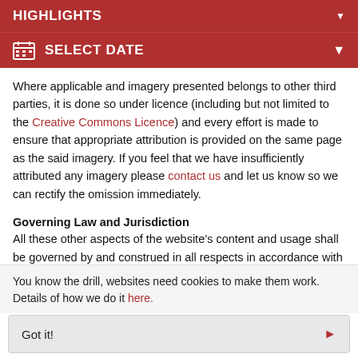HIGHLIGHTS
SELECT DATE
Where applicable and imagery presented belongs to other third parties, it is done so under licence (including but not limited to the Creative Commons Licence) and every effort is made to ensure that appropriate attribution is provided on the same page as the said imagery. If you feel that we have insufficiently attributed any imagery please contact us and let us know so we can rectify the omission immediately.
Governing Law and Jurisdiction
All these other aspects of the website’s content and usage shall be governed by and construed in all respects in accordance with English law and the parties agree to submit to the exclusive jurisdiction of the English courts.
THEATRE IN TAMPA IS PART OF THE THEATRELAND
You know the drill, websites need cookies to make them work. Details of how we do it here.
Got it!